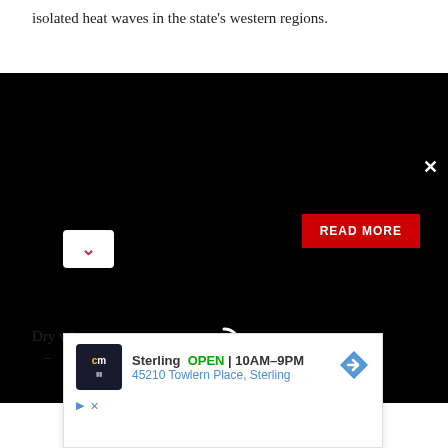isolated heat waves in the state's western regions.
[Figure (screenshot): Black video player overlay with white loading spinner, red READ MORE button, and close (X) button in top right corner]
Dry wi... ow –
[Figure (screenshot): Advertisement popup showing Sterling store with cm logo, OPEN 10AM-9PM, 45210 Towlern Place Sterling, with navigation arrow icon, play and X icons]